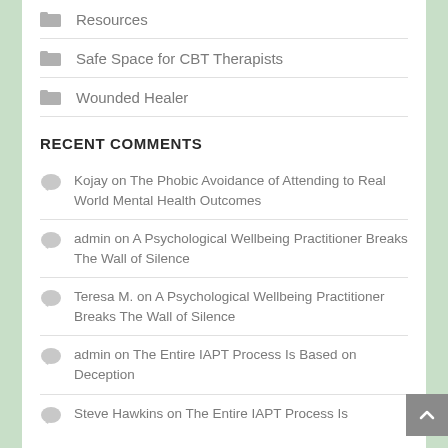Resources
Safe Space for CBT Therapists
Wounded Healer
RECENT COMMENTS
Kojay on The Phobic Avoidance of Attending to Real World Mental Health Outcomes
admin on A Psychological Wellbeing Practitioner Breaks The Wall of Silence
Teresa M. on A Psychological Wellbeing Practitioner Breaks The Wall of Silence
admin on The Entire IAPT Process Is Based on Deception
Steve Hawkins on The Entire IAPT Process Is